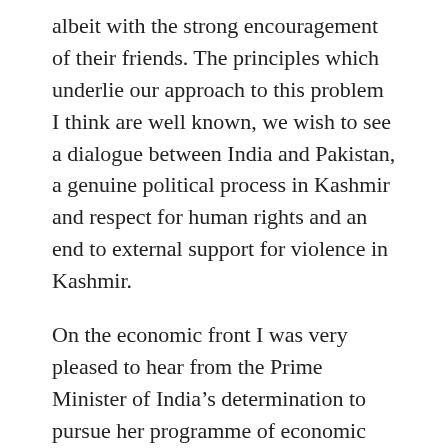albeit with the strong encouragement of their friends. The principles which underlie our approach to this problem I think are well known, we wish to see a dialogue between India and Pakistan, a genuine political process in Kashmir and respect for human rights and an end to external support for violence in Kashmir.
On the economic front I was very pleased to hear from the Prime Minister of India's determination to pursue her programme of economic reform and liberalisation. That is not something we would have heard just a few years ago, today it is a very clear clarion call to the future that forms a central part of India's policies. And one of the things that emerged from my discussions and from the separate discussions with British businessmen has been the commitment of all concerned to that reform and